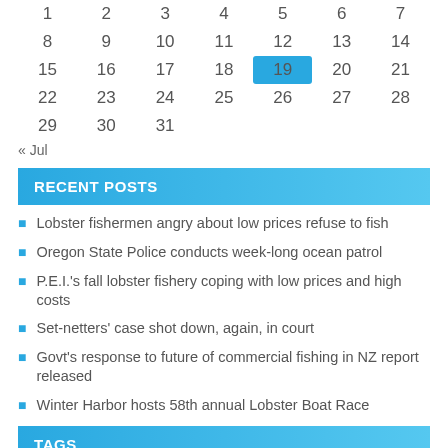| 1 | 2 | 3 | 4 | 5 | 6 | 7 |
| 8 | 9 | 10 | 11 | 12 | 13 | 14 |
| 15 | 16 | 17 | 18 | 19 | 20 | 21 |
| 22 | 23 | 24 | 25 | 26 | 27 | 28 |
| 29 | 30 | 31 |  |  |  |  |
« Jul
RECENT POSTS
Lobster fishermen angry about low prices refuse to fish
Oregon State Police conducts week-long ocean patrol
P.E.I.'s fall lobster fishery coping with low prices and high costs
Set-netters' case shot down, again, in court
Govt's response to future of commercial fishing in NZ report released
Winter Harbor hosts 58th annual Lobster Boat Race
TAGS
Alaska Alaska Department of Fish and Game Athearn Marine Agency Atlantic States Marine Fisheries Commission Beat of the Week